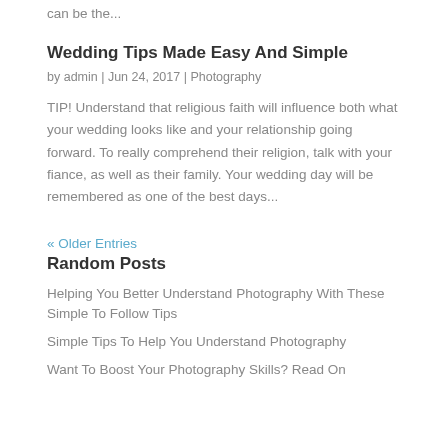can be the...
Wedding Tips Made Easy And Simple
by admin | Jun 24, 2017 | Photography
TIP! Understand that religious faith will influence both what your wedding looks like and your relationship going forward. To really comprehend their religion, talk with your fiance, as well as their family. Your wedding day will be remembered as one of the best days...
« Older Entries
Random Posts
Helping You Better Understand Photography With These Simple To Follow Tips
Simple Tips To Help You Understand Photography
Want To Boost Your Photography Skills? Read On